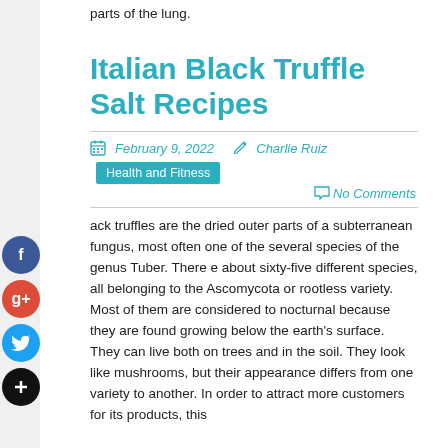parts of the lung.
Italian Black Truffle Salt Recipes
February 9, 2022   Charlie Ruiz   Health and Fitness   No Comments
ack truffles are the dried outer parts of a subterranean fungus, most often one of the several species of the genus Tuber. There e about sixty-five different species, all belonging to the Ascomycota or rootless variety. Most of them are considered to nocturnal because they are found growing below the earth's surface. They can live both on trees and in the soil. They look like mushrooms, but their appearance differs from one variety to another. In order to attract more customers for its products, this